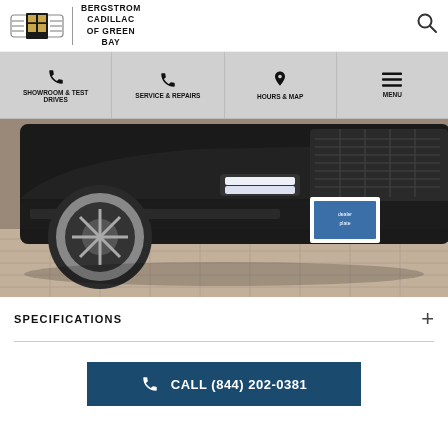[Figure (logo): Cadillac wreath and crest logo with Bergstrom Cadillac of Green Bay dealership name and search icon in the header]
[Figure (infographic): Navigation bar with four sections: Showroom & Test Drives (phone icon), Service & Repairs (phone icon), Hours & Map (map pin icon), Menu (hamburger icon)]
[Figure (photo): Close-up photo of a dark/black Cadillac SUV front end showing wheel, headlights, grille, and front bumper in a dealership showroom with tile floor]
SPECIFICATIONS
CALL (844) 202-0381